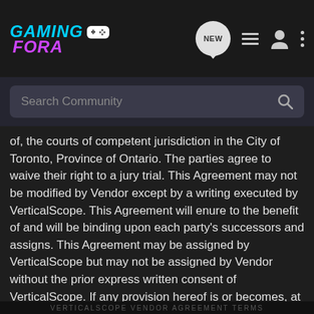GamingFora — Navigation bar with logo, NEW, list, person, and more icons; Search Community search bar
of, the courts of competent jurisdiction in the City of Toronto, Province of Ontario. The parties agree to waive their right to a jury trial. This Agreement may not be modified by Vendor except by a writing executed by VerticalScope. This Agreement will enure to the benefit of and will be binding upon each party's successors and assigns. This Agreement may be assigned by VerticalScope but may not be assigned by Vendor without the prior express written consent of VerticalScope. If any provision hereof is or becomes, at any time or for any reason, unenforceable or invalid, no other provision hereof would be affected thereby and the remaining provisions will continue with the same effect as if such unenforceable or invalid provisions will not have been inserted herein. The failure to enforce any provision of this Agreement will not constitute a waiver of any term.
VERTICALSCOPE VENDOR AGREEMENT TERMS